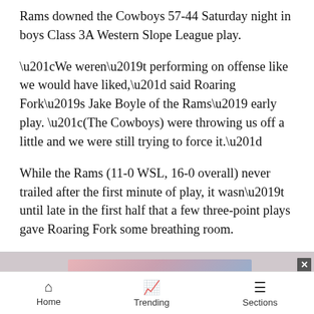Rams downed the Cowboys 57-44 Saturday night in boys Class 3A Western Slope League play.
“We weren’t performing on offense like we would have liked,” said Roaring Fork’s Jake Boyle of the Rams’ early play. “(The Cowboys) were throwing us off a little and we were still trying to force it.”
While the Rams (11-0 WSL, 16-0 overall) never trailed after the first minute of play, it wasn’t until late in the first half that a few three-point plays gave Roaring Fork some breathing room.
[Figure (infographic): Advertisement banner: USE CODE 10OFF FOR 10% OFF TODAY! with background showing golf course. Close button (x) in top right. Notification bell button on right side.]
Home   Trending   Sections